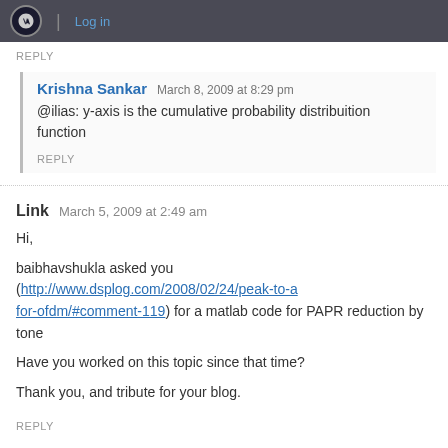WordPress toolbar with Log in link
REPLY
Krishna Sankar   March 8, 2009 at 8:29 pm
@ilias: y-axis is the cumulative probability distribuition function
REPLY
Link   March 5, 2009 at 2:49 am
Hi,
baibhavshukla asked you (http://www.dsplog.com/2008/02/24/peak-to-a for-ofdm/#comment-119) for a matlab code for PAPR reduction by tone
Have you worked on this topic since that time?
Thank you, and tribute for your blog.
REPLY